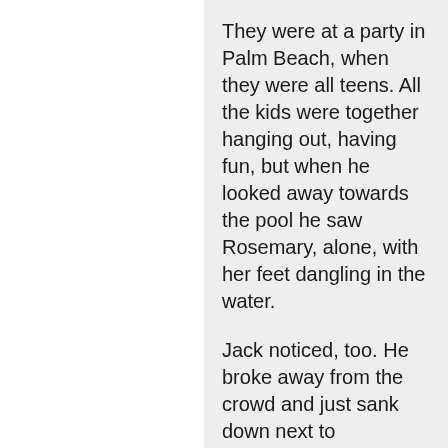They were at a party in Palm Beach, when they were all teens. All the kids were together hanging out, having fun, but when he looked away towards the pool he saw Rosemary, alone, with her feet dangling in the water.
Jack noticed, too. He broke away from the crowd and just sank down next to Rosemary, at the edge of the pool, feet in the water. And they just stayed there, together, sharing their private moment.